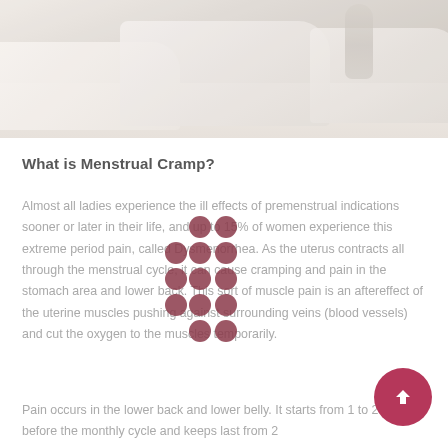[Figure (photo): Bedroom scene with white pillows and bedding on a light-colored bed, soft muted tones]
What is Menstrual Cramp?
Almost all ladies experience the ill effects of premenstrual indications sooner or later in their life, and up to 15% of women experience this extreme period pain, called Dysmenorrhea. As the uterus contracts all through the menstrual cycle, it can cause cramping and pain in the stomach area and lower back. This sort of muscle pain is an aftereffect of the uterine muscles pushing against surrounding veins (blood vessels) and cut the oxygen to the muscles temporarily.
Pain occurs in the lower back and lower belly. It starts from 1 to 2 days before the monthly cycle and keeps last from 2